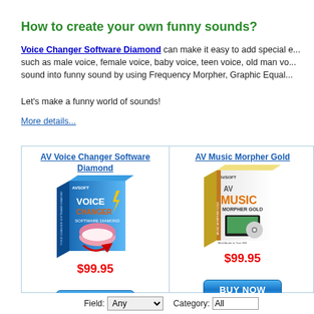How to create your own funny sounds?
Voice Changer Software Diamond can make it easy to add special effects such as male voice, female voice, baby voice, teen voice, old man voice... sound into funny sound by using Frequency Morpher, Graphic Equalizer...
Let's make a funny world of sounds!
More details...
[Figure (screenshot): Product advertisement box showing AV Voice Changer Software Diamond and AV Music Morpher Gold, each with product box image, price $99.95, and BUY NOW button]
Field: Any  Category: All